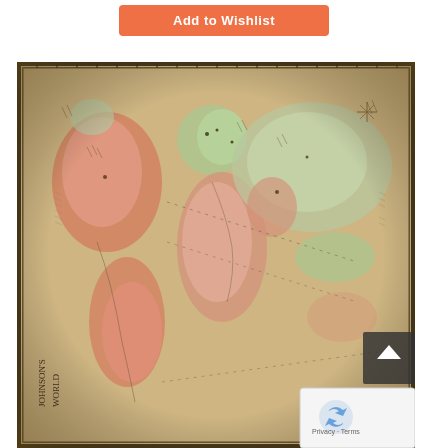[Figure (other): Orange 'Add to Wishlist' button at top center of page]
[Figure (map): Vintage antique world map (Johnson's Map of the World) showing continents colored in pink, green, and tan with decorative border, aged parchment appearance. The map shows land masses including Americas, Europe, Africa, and Asia with dotted shipping/navigation lines across oceans. Lower left corner shows text 'Johnson's World'. A reCAPTCHA badge and scroll-to-top button overlay the bottom-right corner.]